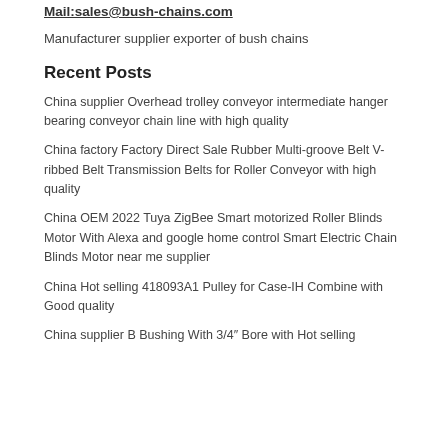Mail:sales@bush-chains.com
Manufacturer supplier exporter of bush chains
Recent Posts
China supplier Overhead trolley conveyor intermediate hanger bearing conveyor chain line with high quality
China factory Factory Direct Sale Rubber Multi-groove Belt V-ribbed Belt Transmission Belts for Roller Conveyor with high quality
China OEM 2022 Tuya ZigBee Smart motorized Roller Blinds Motor With Alexa and google home control Smart Electric Chain Blinds Motor near me supplier
China Hot selling 418093A1 Pulley for Case-IH Combine with Good quality
China supplier B Bushing With 3/4″ Bore with Hot selling